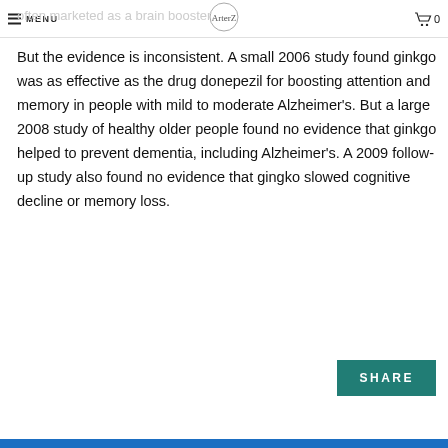MENU | [logo] | 0
often marketed as a brain booster.
But the evidence is inconsistent. A small 2006 study found ginkgo was as effective as the drug donepezil for boosting attention and memory in people with mild to moderate Alzheimer's. But a large 2008 study of healthy older people found no evidence that ginkgo helped to prevent dementia, including Alzheimer's. A 2009 follow-up study also found no evidence that gingko slowed cognitive decline or memory loss.
SHARE